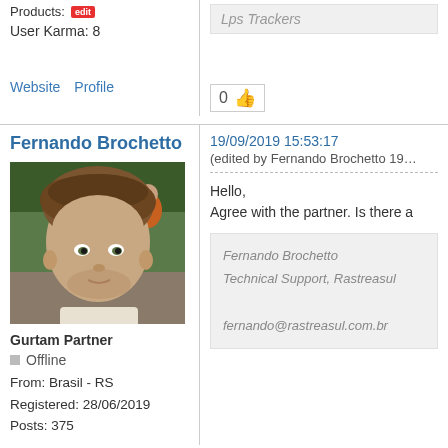Products: [edit]
User Karma: 8
Lps Trackers
0 👍
Website  Profile
Fernando Brochetto
[Figure (photo): Profile photo of Fernando Brochetto, a young man with curly brown hair outdoors]
Gurtam Partner
Offline
From: Brasil - RS
Registered: 28/06/2019
Posts: 375
19/09/2019 15:53:17
(edited by Fernando Brochetto 19…
Hello,
Agree with the partner. Is there a
Fernando Brochetto
Technical Support, Rastreasul

fernando@rastreasul.com.br